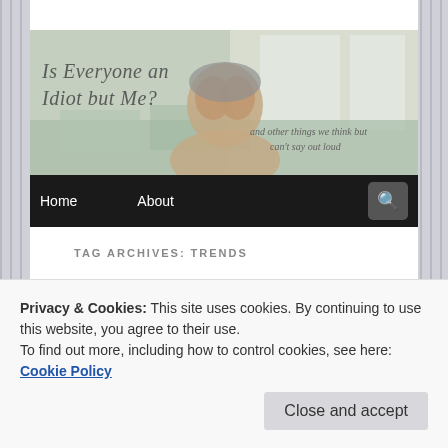[Figure (photo): Blog header image showing a woman covering her face with her hands, sitting on a couch. Blog title 'Is Everyone an Idiot but Me?' overlaid on the left, subtitle 'and other things we think but can't say out loud' on the right.]
Home   About
TAG ARCHIVES: TRENDS
The Folly of My Food
Privacy & Cookies: This site uses cookies. By continuing to use this website, you agree to their use.
To find out more, including how to control cookies, see here: Cookie Policy
example, everyone in America standing in line in the hot,